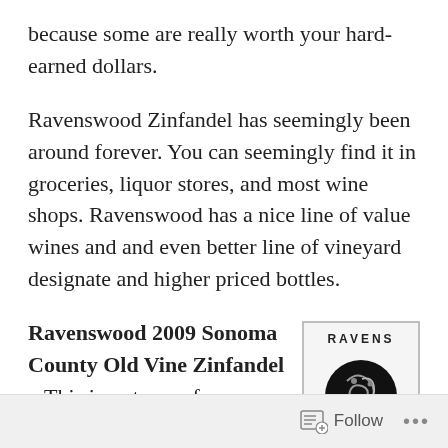because some are really worth your hard-earned dollars.
Ravenswood Zinfandel has seemingly been around forever. You can seemingly find it in groceries, liquor stores, and most wine shops. Ravenswood has a nice line of value wines and and even better line of vineyard designate and higher priced bottles.
Ravenswood 2009 Sonoma County Old Vine Zinfandel – This is a step up from Ravenswood basic entry level Zin and it's dynamite wine for the money.
[Figure (photo): Ravenswood Sonoma County Old Vine Zinfandel wine bottle label in black and white. Shows the Ravenswood logo (intertwined ravens), text: RAVENS WOOD, SONOMA COUNTY, OLD VINE ZINFANDEL]
It's rich, smoky, big fruit and nicely balanced red wine. You'll get the dark fruit, maybe chocolate, and other rich flavors
Follow ...